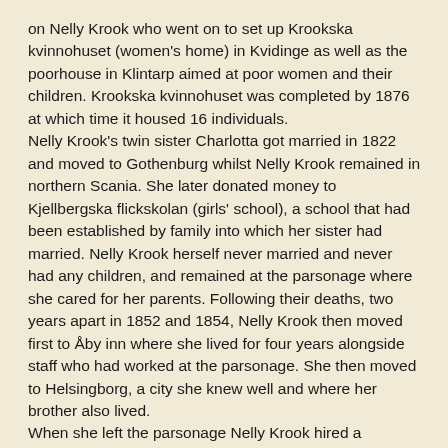on Nelly Krook who went on to set up Krookska kvinnohuset (women's home) in Kvidinge as well as the poorhouse in Klintarp aimed at poor women and their children. Krookska kvinnohuset was completed by 1876 at which time it housed 16 individuals.
Nelly Krook's twin sister Charlotta got married in 1822 and moved to Gothenburg whilst Nelly Krook remained in northern Scania. She later donated money to Kjellbergska flickskolan (girls' school), a school that had been established by family into which her sister had married. Nelly Krook herself never married and never had any children, and remained at the parsonage where she cared for her parents. Following their deaths, two years apart in 1852 and 1854, Nelly Krook then moved first to Åby inn where she lived for four years alongside staff who had worked at the parsonage. She then moved to Helsingborg, a city she knew well and where her brother also lived.
When she left the parsonage Nelly Krook hired a housekeeping lady who also accompanied her to Helsingborg. Her name was Agneta Malmgren and she went by the nickname of Agnes. She was 23 years old when she began working for Nelly Krook and despite the more than 30-year age gap between the two women they